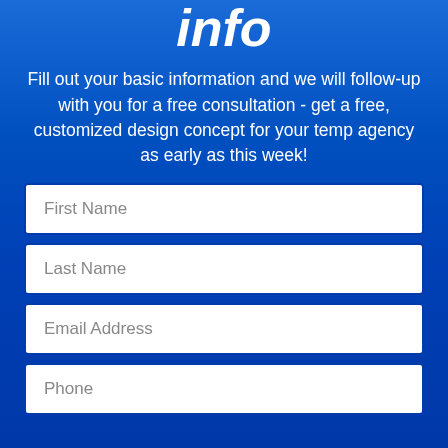info
Fill out your basic information and we will follow-up with you for a free consultation - get a free, customized design concept for your temp agency as early as this week!
First Name
Last Name
Email Address
Phone